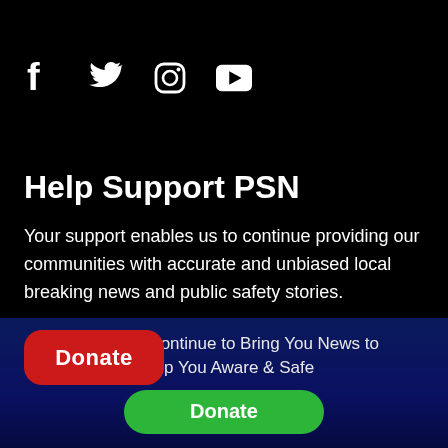[Figure (illustration): Social media icons: Facebook, Twitter, Instagram, YouTube in white on black background]
Help Support PSN
Your support enables us to continue providing our communities with accurate and unbiased local breaking news and public safety stories.
Donate
Help PSN Continue to Bring You News to Keep You Aware & Safe
Donate